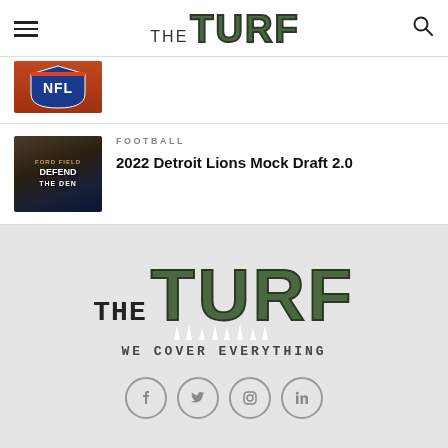THE TURF
[Figure (photo): Partial NFL logo thumbnail visible at top]
[Figure (photo): Detroit Lions stadium exterior with 'Defend the Den' text]
FOOTBALL
2022 Detroit Lions Mock Draft 2.0
[Figure (logo): The Turf logo with tagline 'WE COVER EVERYTHING' and social media icons]